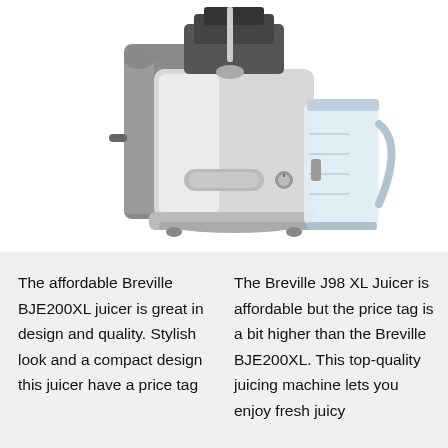[Figure (photo): A Breville centrifugal juicer (silver and gray) with a clear juice collection jug on the right side, photographed on a white background.]
The affordable Breville BJE200XL juicer is great in design and quality. Stylish look and a compact design this juicer have a price tag
The Breville J98 XL Juicer is affordable but the price tag is a bit higher than the Breville BJE200XL. This top-quality juicing machine lets you enjoy fresh juicy